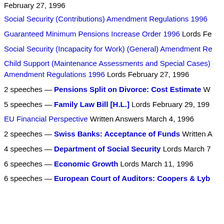February 27, 1996
Social Security (Contributions) Amendment Regulations 1996
Guaranteed Minimum Pensions Increase Order 1996 Lords Fe
Social Security (Incapacity for Work) (General) Amendment Re
Child Support (Maintenance Assessments and Special Cases) Amendment Regulations 1996 Lords February 27, 1996
2 speeches — Pensions Split on Divorce: Cost Estimate W
5 speeches — Family Law Bill [H.L.] Lords February 29, 199
EU Financial Perspective Written Answers March 4, 1996
2 speeches — Swiss Banks: Acceptance of Funds Written A
4 speeches — Department of Social Security Lords March 7
6 speeches — Economic Growth Lords March 11, 1996
6 speeches — European Court of Auditors: Coopers & Lyb